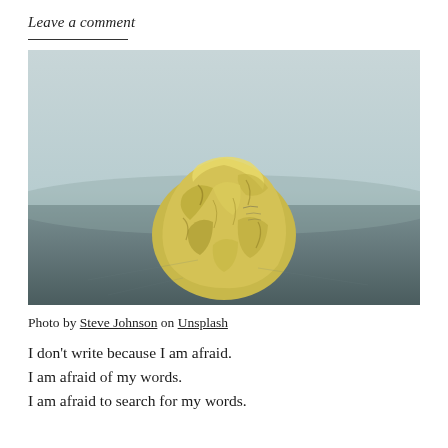Leave a comment
[Figure (photo): A crumpled yellow paper ball sitting on a dark textured surface, against a muted light blue-grey background.]
Photo by Steve Johnson on Unsplash
I don't write because I am afraid.
I am afraid of my words.
I am afraid to search for my words.